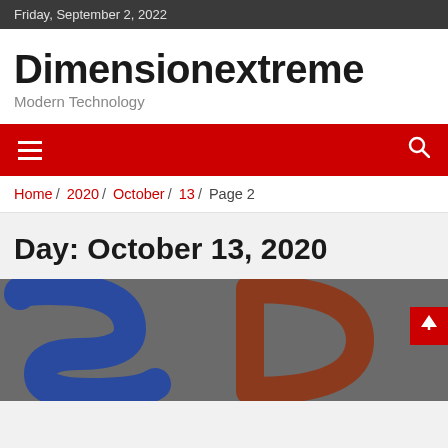Friday, September 2, 2022
Dimensionextreme
Modern Technology
[Figure (other): Red navigation bar with hamburger menu icon on left and search icon on right]
Home / 2020 / October / 13 / Page 2
Day: October 13, 2020
[Figure (illustration): Close-up abstract image with large blue letter S and orange/brown letter D on a gray background, with a red back-to-top arrow button in the lower right corner]